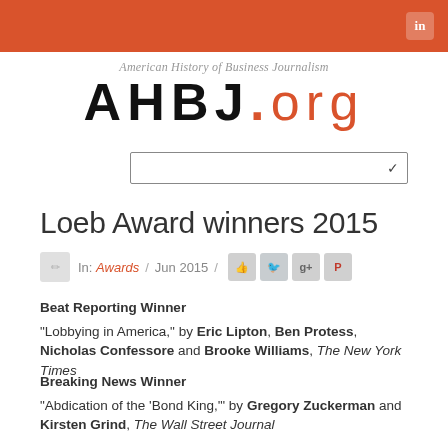AHBJ.org
American History of Business Journalism
AHBJ.org
Loeb Award winners 2015
In: Awards / Jun 2015 /
Beat Reporting Winner
"Lobbying in America," by Eric Lipton, Ben Protess, Nicholas Confessore and Brooke Williams, The New York Times
Breaking News Winner
"Abdication of the 'Bond King,'" by Gregory Zuckerman and Kirsten Grind, The Wall Street Journal